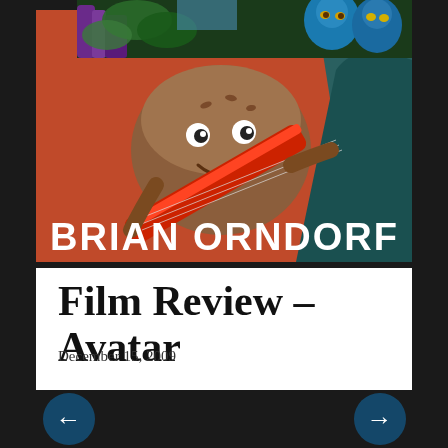[Figure (photo): Header banner showing an animated hamburger character playing a red and white electric guitar against an orange background, with text 'BRIAN ORNDORF' in bold white letters at the bottom left]
Film Review - Avatar
December 15, 2009
[Figure (photo): Bottom image showing a scene from Avatar with blue Na'vi characters in a jungle setting with purple and green plants; navigation arrows (left and right) overlaid on sides]